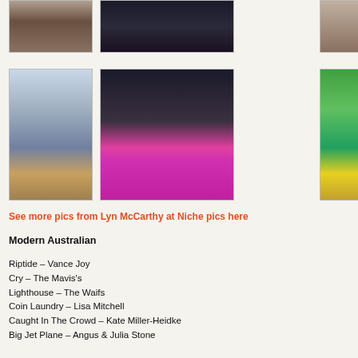[Figure (photo): Band playing drums and instruments on stage, top-left photo]
[Figure (photo): Band with white guitar on stage with keyboard, top-center photo]
[Figure (photo): Partial photo of performer, top-right cropped]
[Figure (photo): Young boy playing a yellow electric guitar, middle-left photo]
[Figure (photo): Man singing at microphone with pink/magenta dot music stand, playing ukulele, middle-center photo]
[Figure (photo): Partial photo with UKE text visible, middle-right cropped]
See more pics from Lyn McCarthy at Niche pics here
Modern Australian
Riptide – Vance Joy
Cry – The Mavis's
Lighthouse – The Waifs
Coin Laundry – Lisa Mitchell
Caught In The Crowd – Kate Miller-Heidke
Big Jet Plane – Angus & Julia Stone